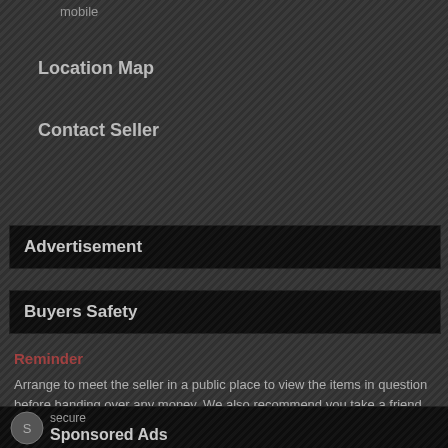mobile
Location Map
Contact Seller
Advertisement
Buyers Safety
Reminder
Arrange to meet the seller in a public place to view the items in question before handing over any money. We also recommend you take a friend along with you. Read more about our safety information.
Sponsored Ads